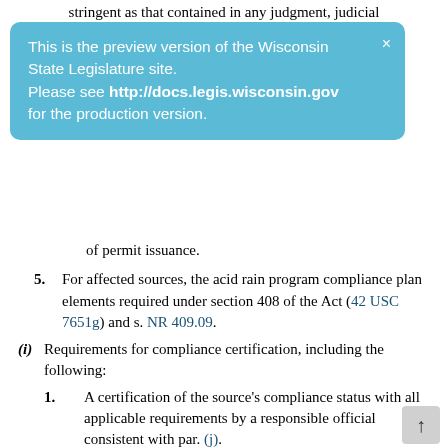stringent as that contained in any judgment, judicial
This is the preview version of the Wisconsin State Legislature site. Please see http://docs.legis.wisconsin.gov for the production version.
of permit issuance.
5. For affected sources, the acid rain program compliance plan elements required under section 408 of the Act (42 USC 7651g) and s. NR 409.09.
(i) Requirements for compliance certification, including the following:
1. A certification of the source’s compliance status with all applicable requirements by a responsible official consistent with par. (j).
2. A description of the methods used for determining compliance, including a description of monitoring, recordkeeping and reporting requirements and test methods.
3. A schedule for submission of compliance certifications during the permit term, to be submitted no less frequently than annually, or more frequently if specified by the underlying applicable requirement or by the departme
4. A statement indicating the source’s compliance status wi…